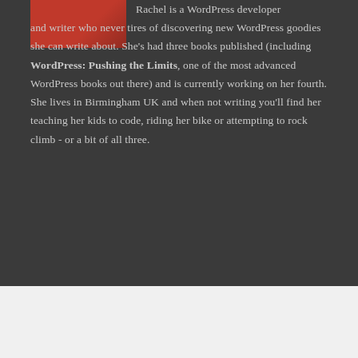[Figure (photo): Partial photo of a person, cropped at top of page, showing red-toned clothing or hair]
Rachel is a WordPress developer and writer who never tires of discovering new WordPress goodies she can write about. She's had three books published (including WordPress: Pushing the Limits, one of the most advanced WordPress books out there) and is currently working on her fourth. She lives in Birmingham UK and when not writing you'll find her teaching her kids to code, riding her bike or attempting to rock climb - or a bit of all three.